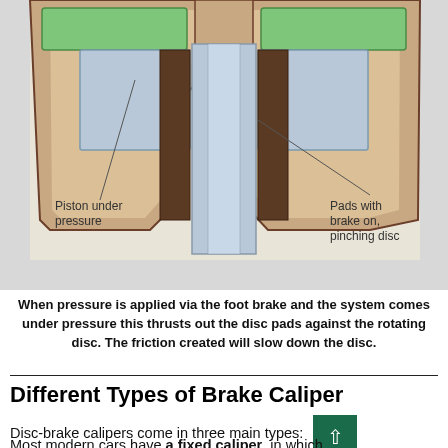[Figure (schematic): Cross-section diagram of a disc brake caliper showing the piston under pressure on the left and pads with brake on pinching disc on the right. The caliper body is shown in tan/beige with green brake pads, a blue/gray disc rotor in the center, and annotated labels pointing to 'Piston under pressure' and 'Pads with brake on, pinching disc'.]
When pressure is applied via the foot brake and the system comes under pressure this thrusts out the disc pads against the rotating disc. The friction created will slow down the disc.
Different Types of Brake Caliper
Disc-brake calipers come in three main types:
Most modern cars have a fixed caliper, in which